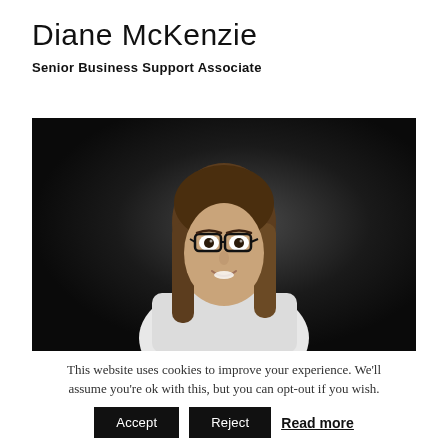Diane McKenzie
Senior Business Support Associate
[Figure (photo): Professional headshot of Diane McKenzie, a woman with long brown hair and glasses, wearing a white shirt, posed against a dark background.]
This website uses cookies to improve your experience. We'll assume you're ok with this, but you can opt-out if you wish.
Accept  Reject  Read more